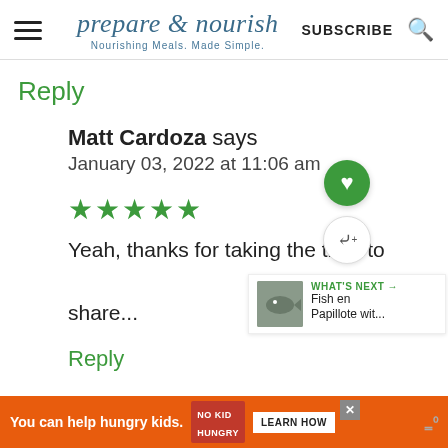prepare & nourish — Nourishing Meals. Made Simple. | SUBSCRIBE
Reply
Matt Cardoza says
January 03, 2022 at 11:06 am
★★★★★
Yeah, thanks for taking the time to share...
Reply
[Figure (screenshot): WHAT'S NEXT: Fish en Papillote wit...]
[Figure (infographic): Ad banner: You can help hungry kids. No Kid Hungry. LEARN HOW]